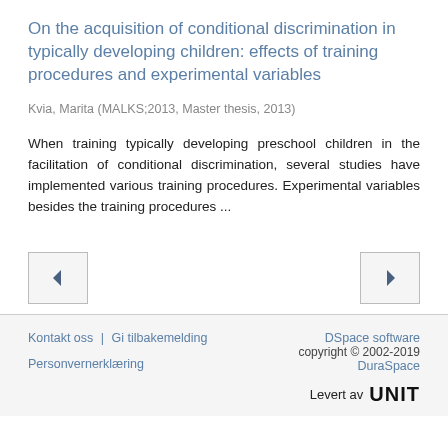On the acquisition of conditional discrimination in typically developing children: effects of training procedures and experimental variables
Kvia, Marita (MALKS;2013, Master thesis, 2013)
When training typically developing preschool children in the facilitation of conditional discrimination, several studies have implemented various training procedures. Experimental variables besides the training procedures ...
[Figure (other): Navigation buttons: left arrow (previous) and right arrow (next)]
Kontakt oss | Gi tilbakemelding   DSpace software copyright © 2002-2019 DuraSpace   Personvernerklæring   Levert av UNIT